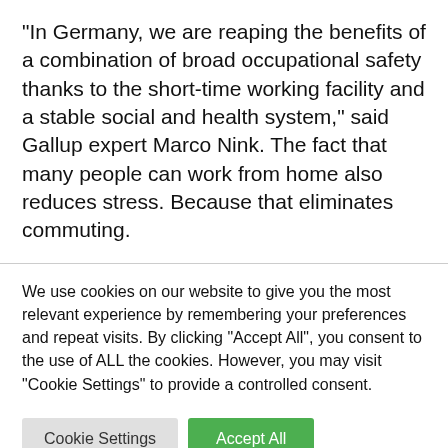“In Germany, we are reaping the benefits of a combination of broad occupational safety thanks to the short-time working facility and a stable social and health system,” said Gallup expert Marco Nink. The fact that many people can work from home also reduces stress. Because that eliminates commuting.
We use cookies on our website to give you the most relevant experience by remembering your preferences and repeat visits. By clicking “Accept All”, you consent to the use of ALL the cookies. However, you may visit "Cookie Settings" to provide a controlled consent.